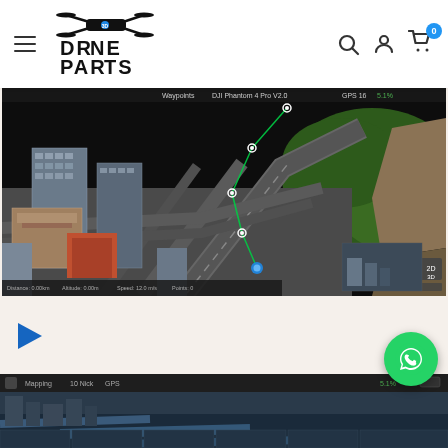Drone Parts store header with logo, hamburger menu, search, account, and cart icons
[Figure (screenshot): Aerial drone mapping software screenshot showing a 3D city/urban area with roads, buildings, and a drone flight path overlay. The interface shows DJI GS Pro or similar mapping software with a route planned over what appears to be a dense urban environment with highways and skyscrapers. Status bar visible at top.]
[Figure (screenshot): Bottom strip showing a partial screenshot of drone mapping software interface, dark background with toolbar visible at top.]